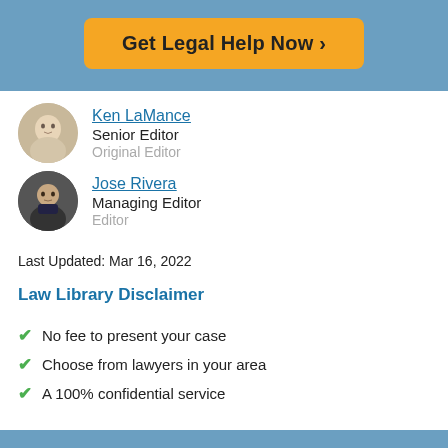[Figure (other): Orange CTA button 'Get Legal Help Now >' on blue banner background]
Ken LaMance
Senior Editor
Original Editor
Jose Rivera
Managing Editor
Editor
Last Updated: Mar 16, 2022
Law Library Disclaimer
No fee to present your case
Choose from lawyers in your area
A 100% confidential service